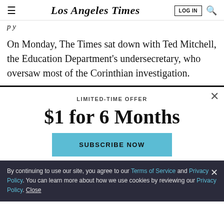Los Angeles Times
p y
On Monday, The Times sat down with Ted Mitchell, the Education Department's undersecretary, who oversaw most of the Corinthian investigation.
LIMITED-TIME OFFER
$1 for 6 Months
SUBSCRIBE NOW
By continuing to use our site, you agree to our Terms of Service and Privacy Policy. You can learn more about how we use cookies by reviewing our Privacy Policy. Close